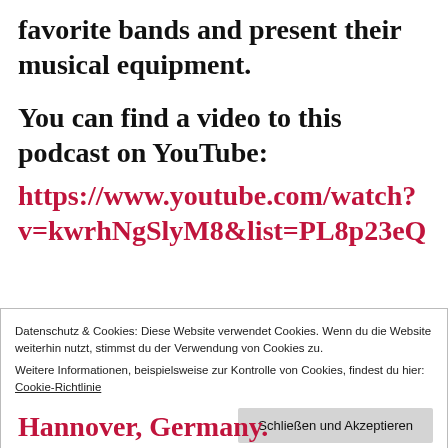favorite bands and present their musical equipment.
You can find a video to this podcast on YouTube:
https://www.youtube.com/watch?v=kwrhNgSlyM8&list=PL8p23eQ
Datenschutz & Cookies: Diese Website verwendet Cookies. Wenn du die Website weiterhin nutzt, stimmst du der Verwendung von Cookies zu.
Weitere Informationen, beispielsweise zur Kontrolle von Cookies, findest du hier: Cookie-Richtlinie
Schließen und Akzeptieren
Hannover, Germany.